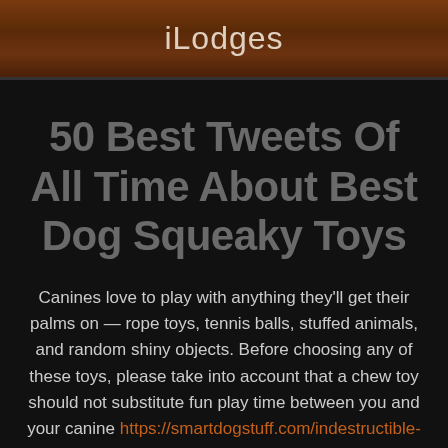iLodges
50 Best Tweets Of All Time About Best Dog Squeaky Toys
Canines love to play with anything they'll get their palms on — rope toys, tennis balls, stuffed animals, and random shiny objects. Before choosing any of these toys, please take into account that a chew toy should not substitute fun play time between you and your canine https://smartdogstuff.com/indestructible-dog-toys/squeaky/. Make time to have a one-on-one sport